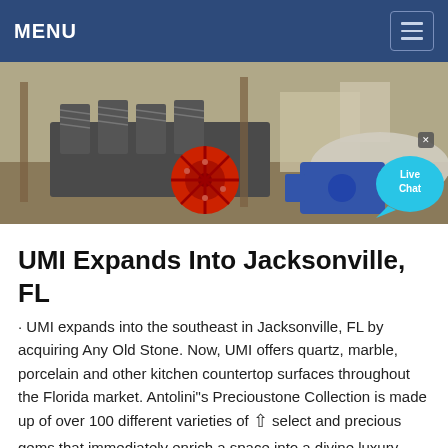MENU
[Figure (photo): Industrial stone crushing machinery at a quarry site, with large metal rollers, a red wheel, and gravel/stone piles in the background. A Live Chat bubble is visible in the bottom right corner.]
UMI Expands Into Jacksonville, FL
· UMI expands into the southeast in Jacksonville, FL by acquiring Any Old Stone. Now, UMI offers quartz, marble, porcelain and other kitchen countertop surfaces throughout the Florida market. Antolini"s Precioustone Collection is made up of over 100 different varieties of select and precious gems that immediately enrich a space into a divine luxury.